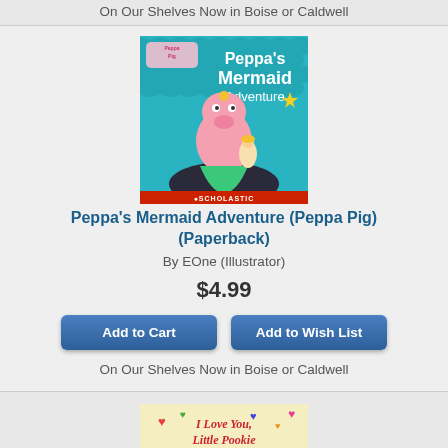On Our Shelves Now in Boise or Caldwell
[Figure (illustration): Book cover for Peppa's Mermaid Adventure (Peppa Pig) by Scholastic — teal/blue mermaid scale background, Peppa Pig character dressed as a mermaid holding a small doll figure, Peppa Pig logo top left, Scholastic logo bottom]
Peppa's Mermaid Adventure (Peppa Pig) (Paperback)
By EOne (Illustrator)
$4.99
Add to Cart
Add to Wish List
On Our Shelves Now in Boise or Caldwell
[Figure (illustration): Book cover for I Love You, Little Pookie — cream/yellow background with colorful hearts, cartoon pig character holding a baby pig]